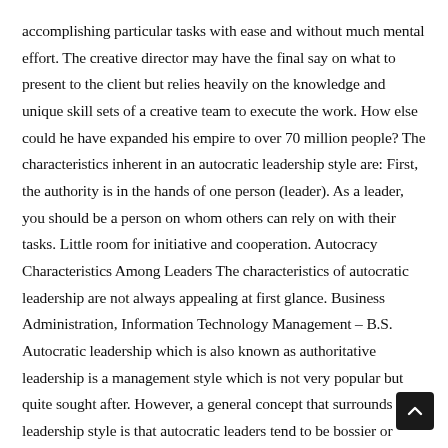accomplishing particular tasks with ease and without much mental effort. The creative director may have the final say on what to present to the client but relies heavily on the knowledge and unique skill sets of a creative team to execute the work. How else could he have expanded his empire to over 70 million people? The characteristics inherent in an autocratic leadership style are: First, the authority is in the hands of one person (leader). As a leader, you should be a person on whom others can rely on with their tasks. Little room for initiative and cooperation. Autocracy Characteristics Among Leaders The characteristics of autocratic leadership are not always appealing at first glance. Business Administration, Information Technology Management – B.S. Autocratic leadership which is also known as authoritative leadership is a management style which is not very popular but quite sought after. However, a general concept that surrounds this leadership style is that autocratic leaders tend to be bossier or dictator-type leaders who prefer to keep a bird's eye view on the